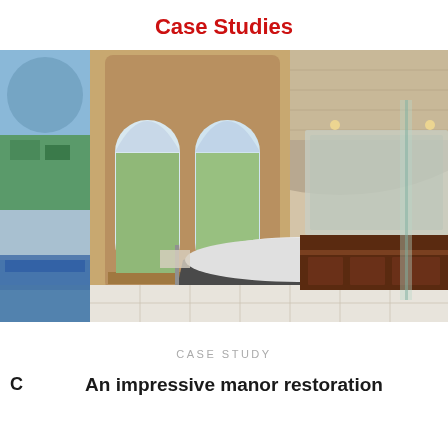Case Studies
[Figure (photo): Interior photo of a luxurious manor bathroom with arched stone ceiling, freestanding dark bathtub, tall wooden-framed arched windows, white tiled floor, and dark wood double vanity. A partial side strip on the left shows an outdoor aerial/garden view.]
CASE STUDY
An impressive manor restoration